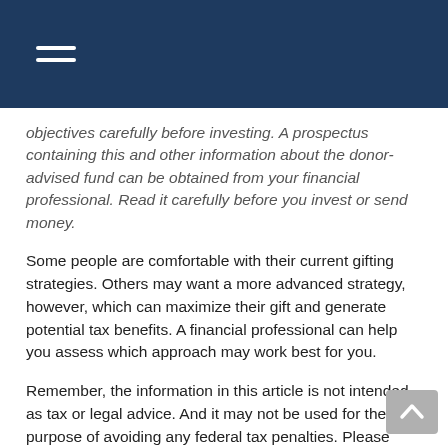objectives carefully before investing. A prospectus containing this and other information about the donor-advised fund can be obtained from your financial professional. Read it carefully before you invest or send money.
Some people are comfortable with their current gifting strategies. Others may want a more advanced strategy, however, which can maximize their gift and generate potential tax benefits. A financial professional can help you assess which approach may work best for you.
Remember, the information in this article is not intended as tax or legal advice. And it may not be used for the purpose of avoiding any federal tax penalties. Please consult legal or tax professionals for specific information regarding your individual situation.